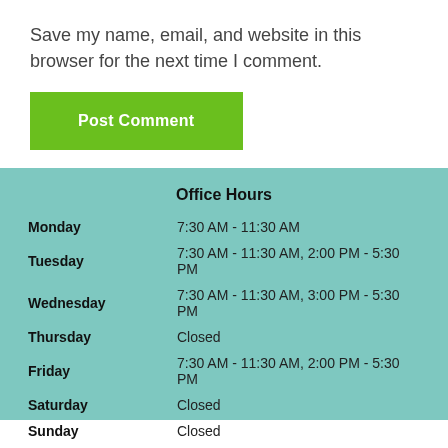Save my name, email, and website in this browser for the next time I comment.
Post Comment
Office Hours
| Day | Hours |
| --- | --- |
| Monday | 7:30 AM - 11:30 AM |
| Tuesday | 7:30 AM - 11:30 AM, 2:00 PM - 5:30 PM |
| Wednesday | 7:30 AM - 11:30 AM, 3:00 PM - 5:30 PM |
| Thursday | Closed |
| Friday | 7:30 AM - 11:30 AM, 2:00 PM - 5:30 PM |
| Saturday | Closed |
| Sunday | Closed |